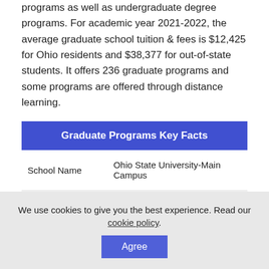programs as well as undergraduate degree programs. For academic year 2021-2022, the average graduate school tuition & fees is $12,425 for Ohio residents and $38,377 for out-of-state students. It offers 236 graduate programs and some programs are offered through distance learning.
| Graduate Programs Key Facts |
| --- |
| School Name | Ohio State University-Main Campus |
| Type | Four-years, Public |
| Address | 190 N. Oval Mall, Columbus, OH |
We use cookies to give you the best experience. Read our cookie policy.